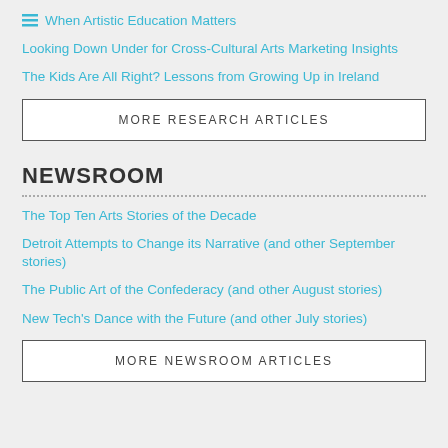When Artistic Education Matters
Looking Down Under for Cross-Cultural Arts Marketing Insights
The Kids Are All Right? Lessons from Growing Up in Ireland
MORE RESEARCH ARTICLES
NEWSROOM
The Top Ten Arts Stories of the Decade
Detroit Attempts to Change its Narrative (and other September stories)
The Public Art of the Confederacy (and other August stories)
New Tech's Dance with the Future (and other July stories)
MORE NEWSROOM ARTICLES